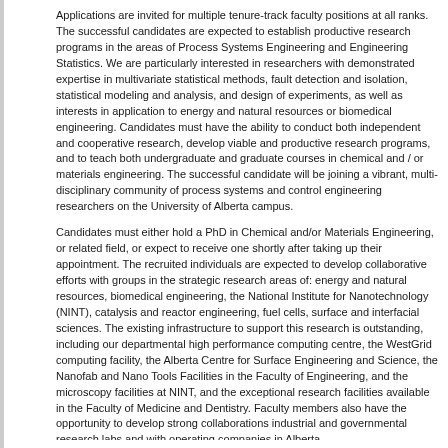Applications are invited for multiple tenure-track faculty positions at all ranks. The successful candidates are expected to establish productive research programs in the areas of Process Systems Engineering and Engineering Statistics. We are particularly interested in researchers with demonstrated expertise in multivariate statistical methods, fault detection and isolation, statistical modeling and analysis, and design of experiments, as well as interests in application to energy and natural resources or biomedical engineering. Candidates must have the ability to conduct both independent and cooperative research, develop viable and productive research programs, and to teach both undergraduate and graduate courses in chemical and / or materials engineering. The successful candidate will be joining a vibrant, multi-disciplinary community of process systems and control engineering researchers on the University of Alberta campus.
Candidates must either hold a PhD in Chemical and/or Materials Engineering, or related field, or expect to receive one shortly after taking up their appointment. The recruited individuals are expected to develop collaborative efforts with groups in the strategic research areas of: energy and natural resources, biomedical engineering, the National Institute for Nanotechnology (NINT), catalysis and reactor engineering, fuel cells, surface and interfacial sciences. The existing infrastructure to support this research is outstanding, including our departmental high performance computing centre, the WestGrid computing facility, the Alberta Centre for Surface Engineering and Science, the Nanofab and Nano Tools Facilities in the Faculty of Engineering, and the microscopy facilities at NINT, and the exceptional research facilities available in the Faculty of Medicine and Dentistry. Faculty members also have the opportunity to develop strong collaborations industrial and governmental research labs and with operating companies in Alberta.